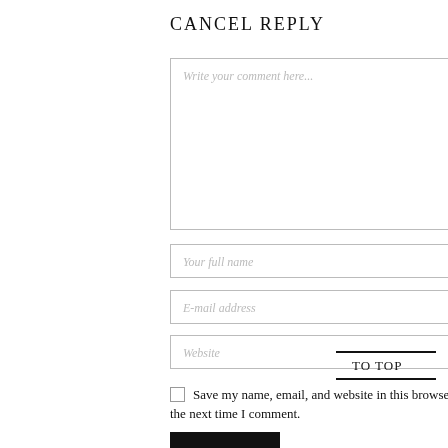CANCEL REPLY
[Figure (screenshot): Comment text area input field with placeholder text 'Write your comment here...']
[Figure (screenshot): Input field with placeholder text 'Your full name']
[Figure (screenshot): Input field with placeholder text 'E-mail address']
[Figure (screenshot): Input field with placeholder text 'Website']
TO TOP
Save my name, email, and website in this browser for the next time I comment.